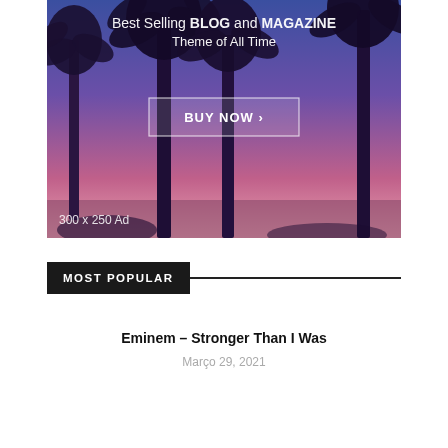[Figure (illustration): Advertisement banner showing palm trees against a purple-pink sunset sky with text overlay. Shows 'Best Selling BLOG and MAGAZINE Theme of All Time' with a 'BUY NOW >' button and '300 x 250 Ad' label.]
MOST POPULAR
Eminem – Stronger Than I Was
Março 29, 2021